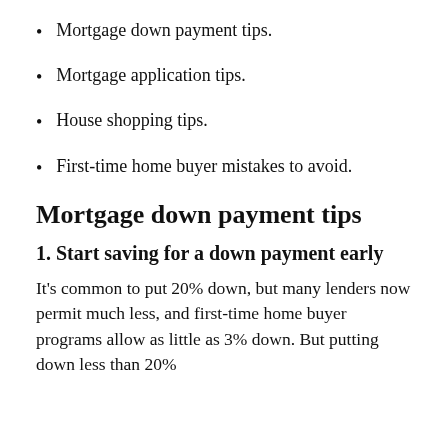Mortgage down payment tips.
Mortgage application tips.
House shopping tips.
First-time home buyer mistakes to avoid.
Mortgage down payment tips
1. Start saving for a down payment early
It’s common to put 20% down, but many lenders now permit much less, and first-time home buyer programs allow as little as 3% down. But putting down less than 20%